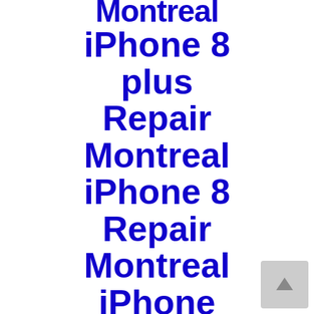Montreal iPhone 8 plus Repair Montreal iPhone 8 Repair Montreal iPhone 6S Plus